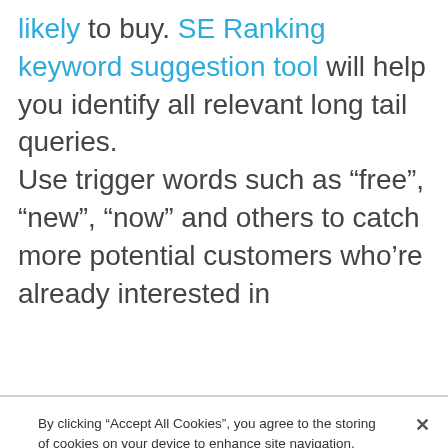likely to buy. SE Ranking keyword suggestion tool will help you identify all relevant long tail queries. Use trigger words such as “free”, “new”, “now” and others to catch more potential customers who’re already interested in
By clicking “Accept All Cookies”, you agree to the storing of cookies on your device to enhance site navigation, analyze site usage, and assist in our marketing efforts.
Cookies Settings
Reject All
Accept All Cookies